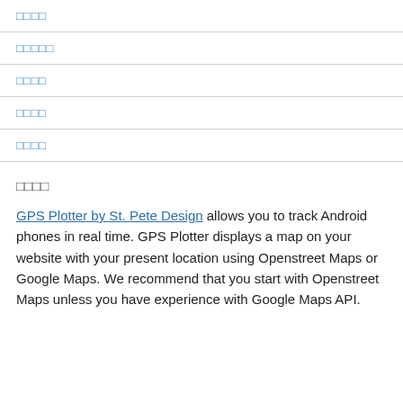□□□□
□□□□□
□□□□
□□□□
□□□□
□□□□
GPS Plotter by St. Pete Design allows you to track Android phones in real time. GPS Plotter displays a map on your website with your present location using Openstreet Maps or Google Maps. We recommend that you start with Openstreet Maps unless you have experience with Google Maps API.